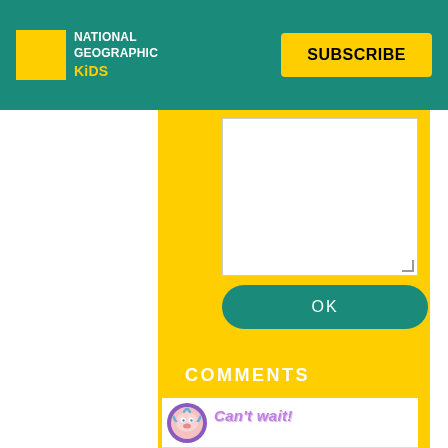[Figure (logo): National Geographic Kids logo with yellow rectangle and teal background]
SUBSCRIBE
[Figure (screenshot): Yellow form card with white textarea and OK button on teal rounded button]
COMMENTS
[Figure (illustration): Purple fish avatar emoji]
Can't wait!